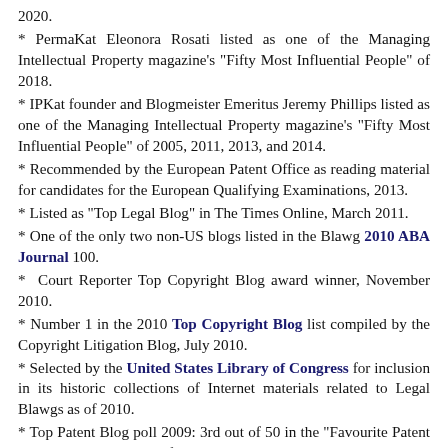2020.
* PermaKat Eleonora Rosati listed as one of the Managing Intellectual Property magazine's "Fifty Most Influential People" of 2018.
* IPKat founder and Blogmeister Emeritus Jeremy Phillips listed as one of the Managing Intellectual Property magazine's "Fifty Most Influential People" of 2005, 2011, 2013, and 2014.
* Recommended by the European Patent Office as reading material for candidates for the European Qualifying Examinations, 2013.
* Listed as "Top Legal Blog" in The Times Online, March 2011.
* One of the only two non-US blogs listed in the Blawg 2010 ABA Journal 100.
* Court Reporter Top Copyright Blog award winner, November 2010.
* Number 1 in the 2010 Top Copyright Blog list compiled by the Copyright Litigation Blog, July 2010.
* Selected by the United States Library of Congress for inclusion in its historic collections of Internet materials related to Legal Blawgs as of 2010.
* Top Patent Blog poll 2009: 3rd out of 50 in the "Favourite Patent Blog" poll and 2nd out of 50 in the "Most-read" poll.